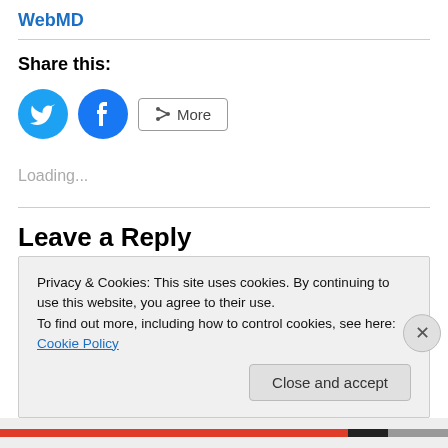WebMD
Share this:
[Figure (infographic): Social share buttons: Twitter (blue circle with bird icon), Facebook (blue circle with f icon), and a More button with share icon]
Loading...
Leave a Reply
Privacy & Cookies: This site uses cookies. By continuing to use this website, you agree to their use.
To find out more, including how to control cookies, see here: Cookie Policy